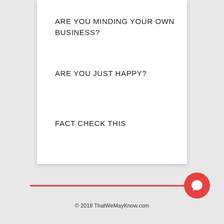ARE YOU MINDING YOUR OWN BUSINESS?
ARE YOU JUST HAPPY?
FACT CHECK THIS
© 2018 ThatWeMayKnow.com